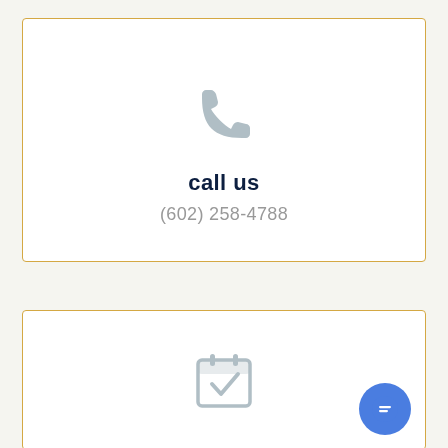[Figure (illustration): Gray telephone handset icon centered in top card]
call us
(602) 258-4788
[Figure (illustration): Gray calendar with checkmark icon centered in bottom card, and blue circular chat button in bottom right corner]